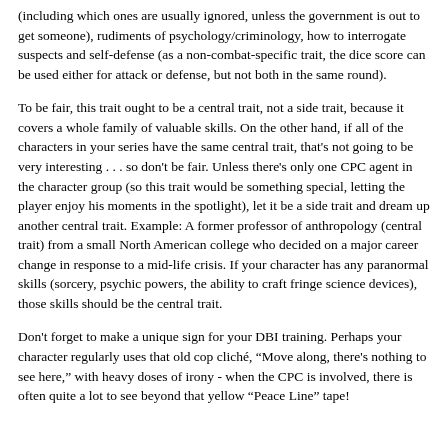(including which ones are usually ignored, unless the government is out to get someone), rudiments of psychology/criminology, how to interrogate suspects and self-defense (as a non-combat-specific trait, the dice score can be used either for attack or defense, but not both in the same round).
To be fair, this trait ought to be a central trait, not a side trait, because it covers a whole family of valuable skills. On the other hand, if all of the characters in your series have the same central trait, that's not going to be very interesting . . . so don't be fair. Unless there's only one CPC agent in the character group (so this trait would be something special, letting the player enjoy his moments in the spotlight), let it be a side trait and dream up another central trait. Example: A former professor of anthropology (central trait) from a small North American college who decided on a major career change in response to a mid-life crisis. If your character has any paranormal skills (sorcery, psychic powers, the ability to craft fringe science devices), those skills should be the central trait.
Don't forget to make a unique sign for your DBI training. Perhaps your character regularly uses that old cop cliché, "Move along, there's nothing to see here," with heavy doses of irony - when the CPC is involved, there is often quite a lot to see beyond that yellow "Peace Line" tape!